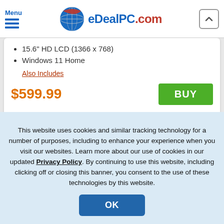Menu | eDealPC.com
15.6" HD LCD (1366 x 768)
Windows 11 Home
Also Includes
$599.99
BUY
[Figure (photo): Side view of a laptop (HP) shown from the side/bottom edge in silver/gray color]
This website uses cookies and similar tracking technology for a number of purposes, including to enhance your experience when you visit our websites. Learn more about our use of cookies in our updated Privacy Policy. By continuing to use this website, including clicking off or closing this banner, you consent to the use of these technologies by this website.
OK